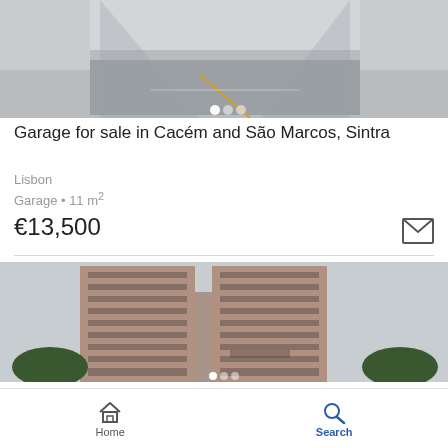[Figure (photo): Garage interior photo with parking space visible, overexposed top portion]
Garage for sale in Cacém and São Marcos, Sintra
Lisbon
Garage • 11 m²
€13,500
[Figure (photo): Tall multi-story office/residential building with pink/mauve facade, multiple rows of windows, trees at base, overcast sky]
Home  Search